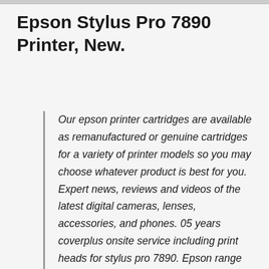Epson Stylus Pro 7890 Printer, New.
Our epson printer cartridges are available as remanufactured or genuine cartridges for a variety of printer models so you may choose whatever product is best for you. Expert news, reviews and videos of the latest digital cameras, lenses, accessories, and phones. 05 years coverplus onsite service including print heads for stylus pro 7890. Epson range of paper and media for inkjet printers. Lyson ink is certified for 75 years print longevity. First show with songs 1-11,